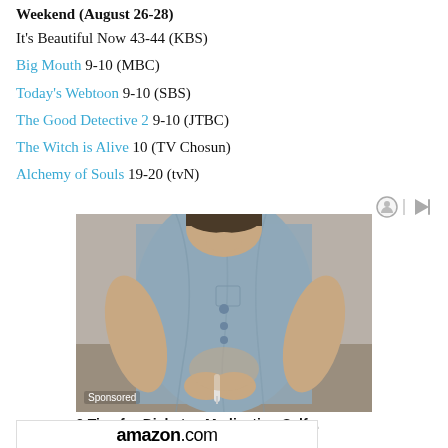Weekend (August 26-28)
It's Beautiful Now 43-44 (KBS)
Big Mouth 9-10 (MBC)
Today's Webtoon 9-10 (SBS)
The Good Detective 2 9-10 (JTBC)
The Witch is Alive 10 (TV Chosun)
Alchemy of Souls 19-20 (tvN)
[Figure (photo): Man in light blue chambray shirt looking down and injecting himself in the abdomen with a syringe, sitting on a couch. Sponsored label in bottom left corner.]
9 Tips for Diabetes Medication Self...
[Figure (logo): amazon.com logo in black bold text]